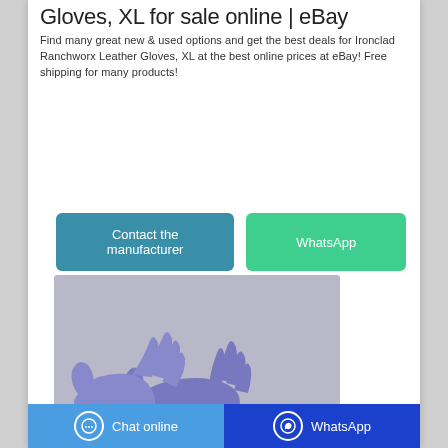Gloves, XL for sale online | eBay
Find many great new & used options and get the best deals for Ironclad Ranchworx Leather Gloves, XL at the best online prices at eBay! Free shipping for many products!
Contact the manufacturer | WhatsApp
[Figure (photo): Two hands wearing blue nitrile gloves on a light grey background]
Chat online | WhatsApp